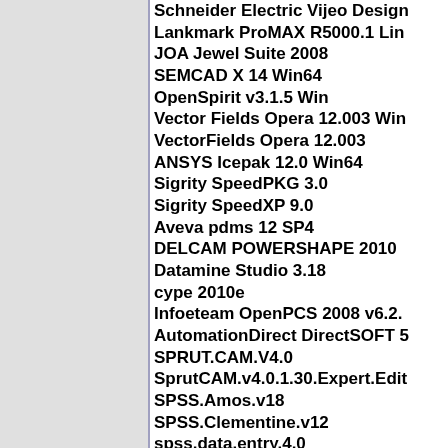Schneider Electric Vijeo Design
Lankmark ProMAX R5000.1 Lin
JOA Jewel Suite 2008
SEMCAD X 14 Win64
OpenSpirit v3.1.5 Win
Vector Fields Opera 12.003 Win
VectorFields Opera 12.003
ANSYS Icepak 12.0 Win64
Sigrity SpeedPKG 3.0
Sigrity SpeedXP 9.0
Aveva pdms 12 SP4
DELCAM POWERSHAPE 2010
Datamine Studio 3.18
cype 2010e
Infoeteam OpenPCS 2008 v6.2.
AutomationDirect DirectSOFT 5
SPRUT.CAM.V4.0
SprutCAM.v4.0.1.30.Expert.Edit
SPSS.Amos.v18
SPSS.Clementine.v12
spss.data.entry.4.0
SPSS.Dimensions.Desktop.5